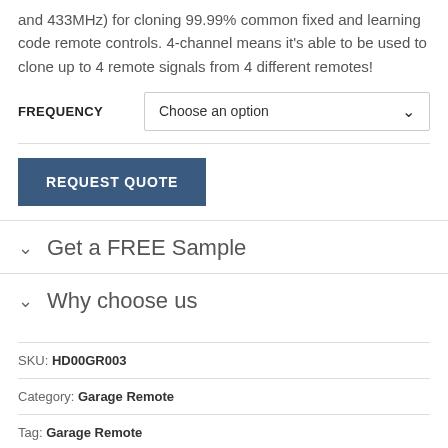and 433MHz) for cloning 99.99% common fixed and learning code remote controls. 4-channel means it's able to be used to clone up to 4 remote signals from 4 different remotes!
FREQUENCY  Choose an option
REQUEST QUOTE
Get a FREE Sample
Why choose us
SKU: HD00GR003
Category: Garage Remote
Tag: Garage Remote